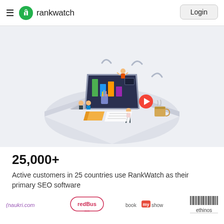rankwatch  Login
[Figure (illustration): Isometric illustration of a laptop workstation with people working, charts on screen, coffee cup, and books on a light grey platform background]
25,000+
Active customers in 25 countries use RankWatch as their primary SEO software
[Figure (logo): Partner logos: naukri.com, redBus, bookmyshow, ethinos]